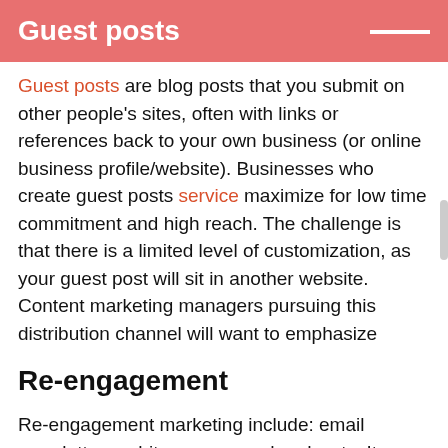Guest posts
Guest posts are blog posts that you submit on other people's sites, often with links or references back to your own business (or online business profile/website). Businesses who create guest posts service maximize for low time commitment and high reach. The challenge is that there is a limited level of customization, as your guest post will sit in another website. Content marketing managers pursuing this distribution channel will want to emphasize
Re-engagement
Re-engagement marketing include: email newsletters, white papers, and podcasts. It entails anything that might allow you to re-connect with a visitor to your